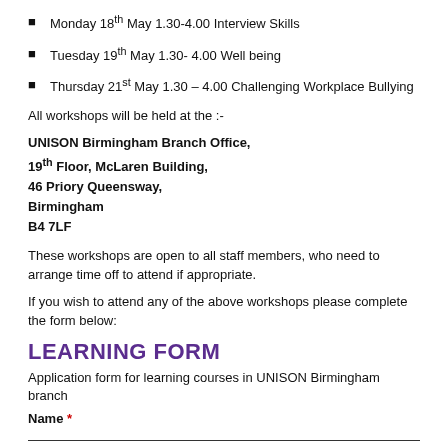Monday 18th May 1.30-4.00 Interview Skills
Tuesday 19th May 1.30- 4.00 Well being
Thursday 21st May 1.30 – 4.00 Challenging Workplace Bullying
All workshops will be held at the :-
UNISON Birmingham Branch Office,
19th Floor, McLaren Building,
46 Priory Queensway,
Birmingham
B4 7LF
These workshops are open to all staff members, who need to arrange time off to attend if appropriate.
If you wish to attend any of the above workshops please complete the form below:
LEARNING FORM
Application form for learning courses in UNISON Birmingham branch
Name *